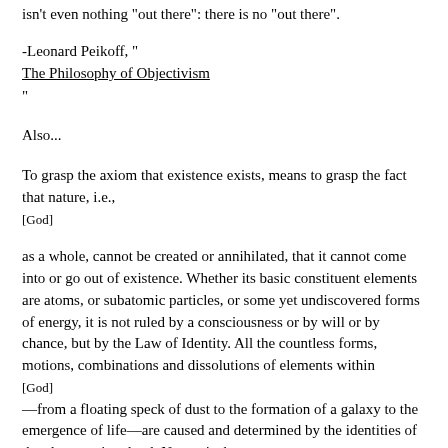isn't even nothing 'out there': there is no 'out there'.
-Leonard Peikoff, "
The Philosophy of Objectivism
"
Also...
To grasp the axiom that existence exists, means to grasp the fact that nature, i.e.,
[God]
as a whole, cannot be created or annihilated, that it cannot come into or go out of existence. Whether its basic constituent elements are atoms, or subatomic particles, or some yet undiscovered forms of energy, it is not ruled by a consciousness or by will or by chance, but by the Law of Identity. All the countless forms, motions, combinations and dissolutions of elements within
[God]
—from a floating speck of dust to the formation of a galaxy to the emergence of life—are caused and determined by the identities of the elements involved. Nature is the metaphysically given
—i.e., the nature of nature is outside the power of any volition